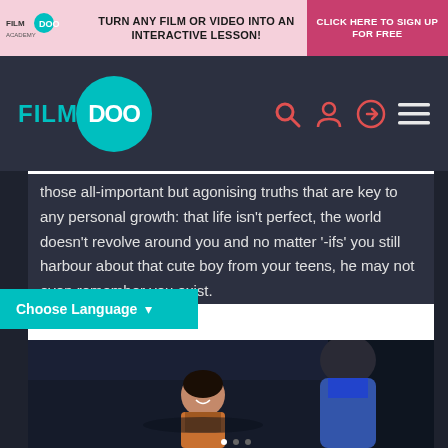TURN ANY FILM OR VIDEO INTO AN INTERACTIVE LESSON! | CLICK HERE TO SIGN UP FOR FREE
[Figure (logo): FilmDoo Academy logo in top banner]
[Figure (logo): FilmDoo navigation logo with teal circle]
those all-important but agonising truths that are key to any personal growth: that life isn't perfect, the world doesn't revolve around you and no matter '-ifs' you still harbour about that cute boy from your teens, he may not even remember you exist.
Choose Language ▾
[Figure (photo): A woman smiling and a man in a blue jacket in a dark outdoor setting, appearing to be a still from a film.]